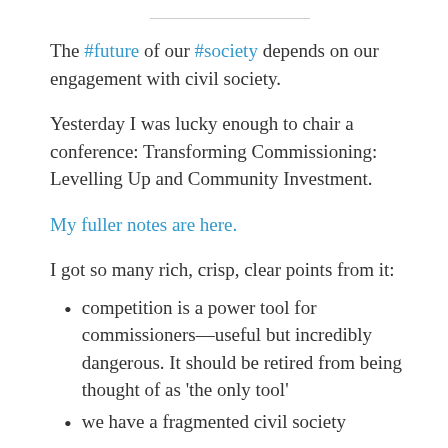The #future of our #society depends on our engagement with civil society.
Yesterday I was lucky enough to chair a conference: Transforming Commissioning: Levelling Up and Community Investment.
My fuller notes are here.
I got so many rich, crisp, clear points from it:
competition is a power tool for commissioners—useful but incredibly dangerous. It should be retired from being thought of as 'the only tool'
we have a fragmented civil society